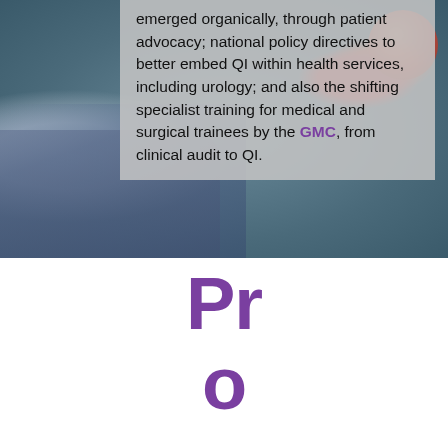[Figure (photo): Background photo of medical/surgical scene with blue gloves and reddish medical model, heavily tinted and overlaid with semi-transparent grey text box.]
emerged organically, through patient advocacy; national policy directives to better embed QI within health services, including urology; and also the shifting specialist training for medical and surgical trainees by the GMC, from clinical audit to QI.
Progra